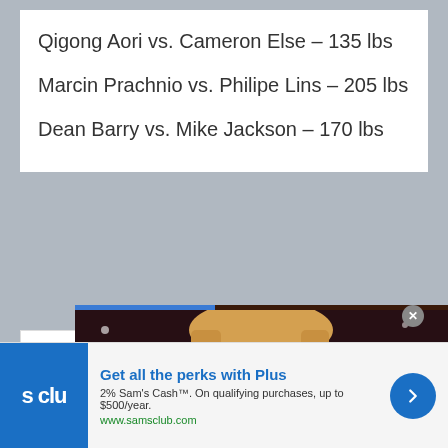Qigong Aori vs. Cameron Else – 135 lbs
Marcin Prachnio vs. Philipe Lins – 205 lbs
Dean Barry vs. Mike Jackson – 170 lbs
[Figure (photo): Small photo of a person at an event, partially visible at top]
[Figure (photo): Overlaid video thumbnail showing a smiling woman (Jillian Peterson) at a sports arena event with a blue progress bar and navigation arrow]
Jillian Peterson
Get all the perks with Plus
2% Sam's Cash™. On qualifying purchases, up to $500/year.
www.samsclub.com